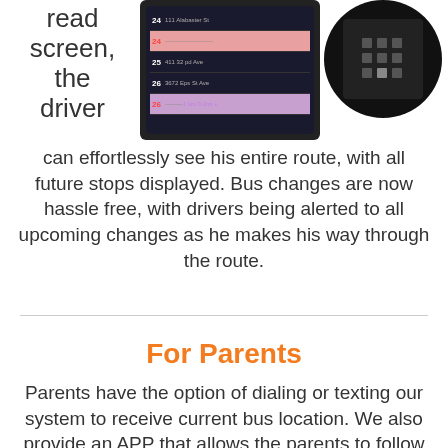[Figure (photo): Screenshot of a tablet app showing bus route stops numbered 24-26, with route information on a dark background]
[Figure (photo): Circular photo of a digital device/keypad mounted in a vehicle, showing a dark device with button grid]
read screen, the driver can effortlessly see his entire route, with all future stops displayed. Bus changes are now hassle free, with drivers being alerted to all upcoming changes as he makes his way through the route.
For Parents
Parents have the option of dialing or texting our system to receive current bus location. We also provide an APP that allows the parents to follow their child's route. This gives parents peace of